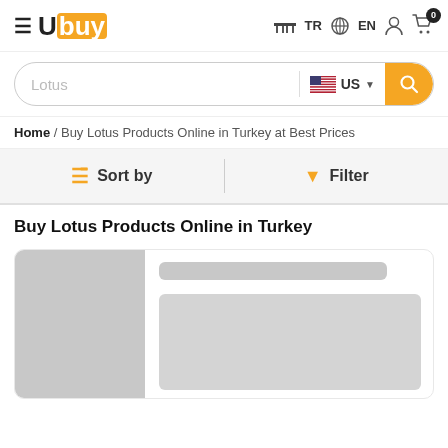Ubuy TR EN [cart 0]
Lotus [search input] US
Home / Buy Lotus Products Online in Turkey at Best Prices
Sort by   Filter
Buy Lotus Products Online in Turkey
[Figure (screenshot): Product card skeleton with gray image placeholder on left and gray skeleton loading bars on right]